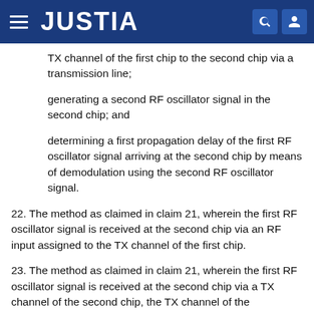JUSTIA
TX channel of the first chip to the second chip via a transmission line;
generating a second RF oscillator signal in the second chip; and
determining a first propagation delay of the first RF oscillator signal arriving at the second chip by means of demodulation using the second RF oscillator signal.
22. The method as claimed in claim 21, wherein the first RF oscillator signal is received at the second chip via an RF input assigned to the TX channel of the first chip.
23. The method as claimed in claim 21, wherein the first RF oscillator signal is received at the second chip via a TX channel of the second chip, the TX channel of the